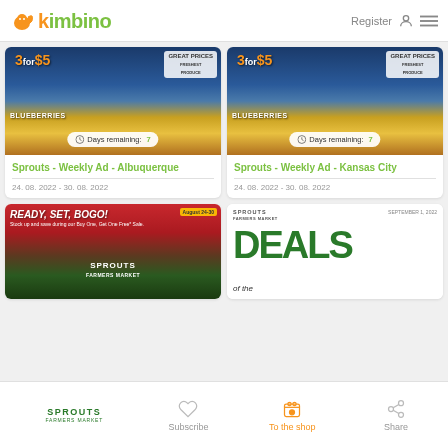kimbino — Register
[Figure (screenshot): Sprouts Weekly Ad Albuquerque — blueberries 3 for $5, Days remaining: 7]
Sprouts - Weekly Ad - Albuquerque
24. 08. 2022 - 30. 08. 2022
[Figure (screenshot): Sprouts Weekly Ad Kansas City — blueberries 3 for $5, Days remaining: 7]
Sprouts - Weekly Ad - Kansas City
24. 08. 2022 - 30. 08. 2022
[Figure (screenshot): Sprouts BOGO sale ad — Ready, Set, BOGO! August 24-30]
[Figure (screenshot): Sprouts DEALS of the — September 1 2022]
SPROUTS FARMERS MARKET — Subscribe — To the shop — Share